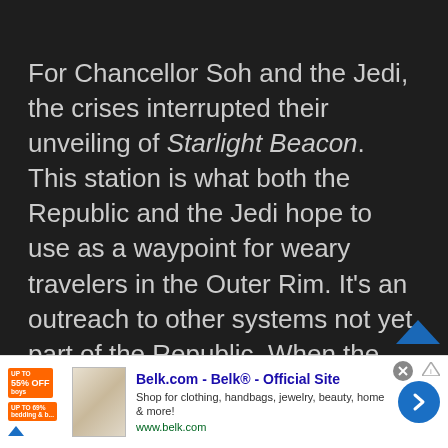For Chancellor Soh and the Jedi, the crises interrupted their unveiling of Starlight Beacon. This station is what both the Republic and the Jedi hope to use as a waypoint for weary travelers in the Outer Rim. It's an outreach to other systems not yet part of the Republic. When the crisis hit, many people in the order and the Republic hoped to unveil it. The Jedi even built a temple on the station. As much as Starlight Beacon is discussed in these books, there is
[Figure (screenshot): Advertisement banner for Belk.com showing orange sale badges, a product image, ad text 'Belk.com - Belk® - Official Site', description text, URL, and a blue arrow button. A scroll-to-top chevron icon overlaps the ad area.]